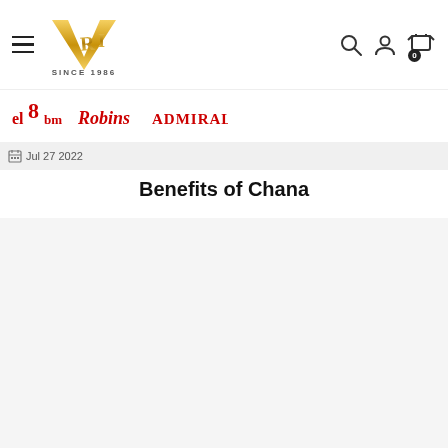[Figure (logo): VRI Since 1986 gold logo with hamburger menu icon and navigation icons (search, user, cart with 0 badge)]
[Figure (logo): Three brand logos: el8bm (red), Robins (red cursive), ADMIRAL (red bold)]
Jul 27 2022
Benefits of Chana
[Figure (other): Light gray content placeholder area]